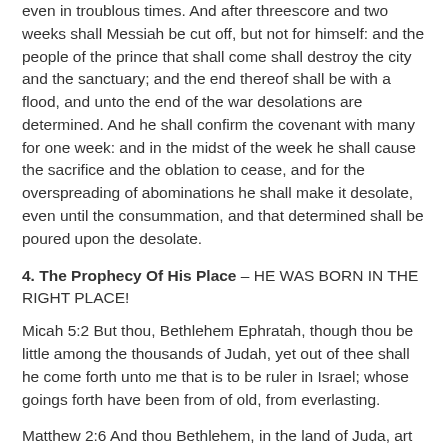even in troublous times. And after threescore and two weeks shall Messiah be cut off, but not for himself: and the people of the prince that shall come shall destroy the city and the sanctuary; and the end thereof shall be with a flood, and unto the end of the war desolations are determined. And he shall confirm the covenant with many for one week: and in the midst of the week he shall cause the sacrifice and the oblation to cease, and for the overspreading of abominations he shall make it desolate, even until the consummation, and that determined shall be poured upon the desolate.
4. The Prophecy Of His Place – HE WAS BORN IN THE RIGHT PLACE!
Micah 5:2 But thou, Bethlehem Ephratah, though thou be little among the thousands of Judah, yet out of thee shall he come forth unto me that is to be ruler in Israel; whose goings forth have been from of old, from everlasting.
Matthew 2:6 And thou Bethlehem, in the land of Juda, art not the least among the princes of Juda: for out of thee shall come a Governor, that shall rule my people Israel.